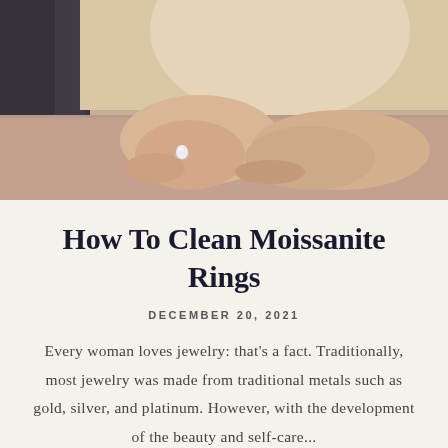[Figure (photo): A woman in a cream/beige short-sleeve top with her hands folded and resting on a dusty rose/mauve surface. She is wearing a large diamond or moissanite ring on her right hand. The background is dark gray/charcoal on the left side.]
How To Clean Moissanite Rings
DECEMBER 20, 2021
Every woman loves jewelry: that's a fact. Traditionally, most jewelry was made from traditional metals such as gold, silver, and platinum. However, with the development of the beauty and self-care...